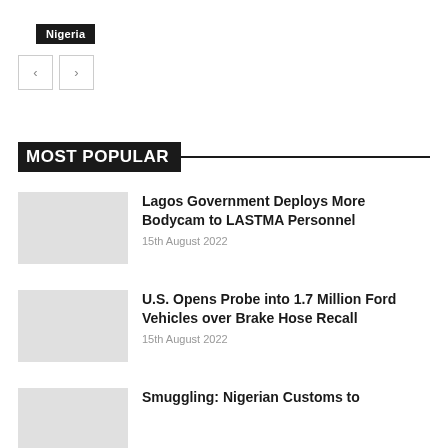Nigeria
MOST POPULAR
Lagos Government Deploys More Bodycam to LASTMA Personnel
15th August 2022
U.S. Opens Probe into 1.7 Million Ford Vehicles over Brake Hose Recall
15th August 2022
Smuggling: Nigerian Customs to